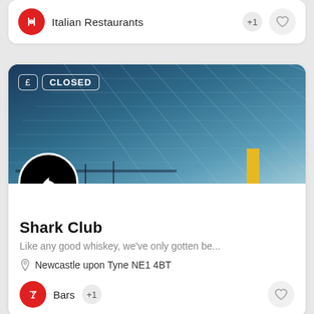[Figure (screenshot): Partial listing card showing Italian Restaurants category with red fork-and-knife icon, +1 badge, and heart button]
[Figure (photo): Hero image of a modern glass skyscraper viewed from below, blue tones, with £ and CLOSED badge overlaid]
[Figure (logo): Shark Club logo: black circle with white shark fin icon]
Shark Club
Like any good whiskey, we've only gotten be...
Newcastle upon Tyne NE1 4BT
Bars  +1